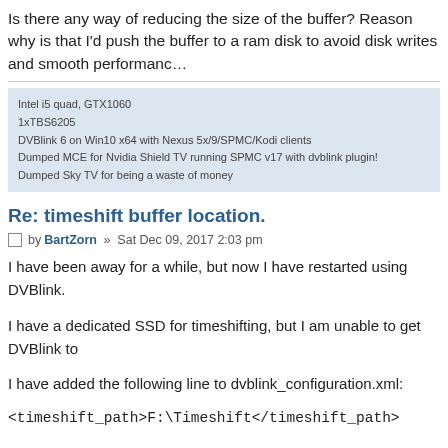Is there any way of reducing the size of the buffer? Reason why is that I'd push the buffer to a ram disk to avoid disk writes and smooth performance.
Intel i5 quad, GTX1060
1xTBS6205
DVBlink 6 on Win10 x64 with Nexus 5x/9/SPMC/Kodi clients
Dumped MCE for Nvidia Shield TV running SPMC v17 with dvblink plugin!
Dumped Sky TV for being a waste of money
Re: timeshift buffer location.
by BartZorn » Sat Dec 09, 2017 2:03 pm
I have been away for a while, but now I have restarted using DVBlink.
I have a dedicated SSD for timeshifting, but I am unable to get DVBlink to
I have added the following line to dvblink_configuration.xml:
<timeshift_path>F:\Timeshift</timeshift_path>
I save the xml file to my desktop. I verified the line is still in the file. I copied the file to the installation folder and gave the required permission. Finally, I verified the line is still in the xml file.
Next I restart the dvblink_server service. The result is that my SSD is not